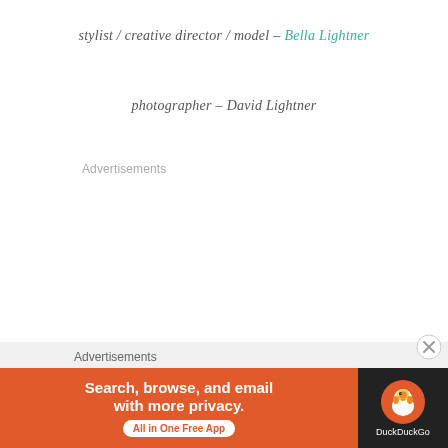stylist / creative director / model – Bella Lightner
photographer – David Lightner
Advertisements
Advertisements
[Figure (other): DuckDuckGo advertisement banner: orange section with bold white text 'Search, browse, and email with more privacy.' and white pill button 'All in One Free App'; dark section on right with DuckDuckGo duck logo and 'DuckDuckGo' label]